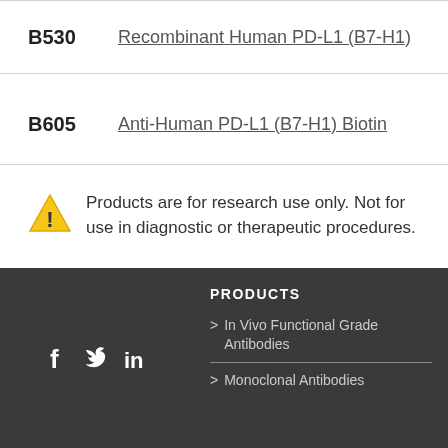B530  Recombinant Human PD-L1 (B7-H1)
B605  Anti-Human PD-L1 (B7-H1) Biotin
⚠ Products are for research use only. Not for use in diagnostic or therapeutic procedures.
PRODUCTS
> In Vivo Functional Grade Antibodies
> Monoclonal Antibodies